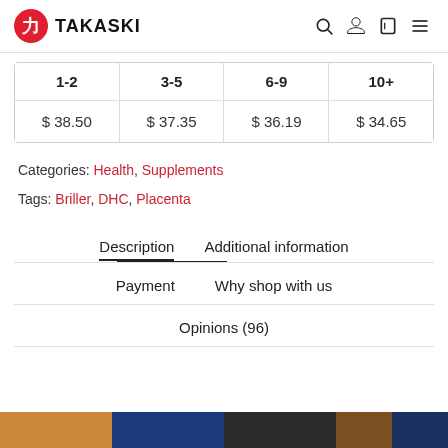TAKASKI
| 1-2 | 3-5 | 6-9 | 10+ |
| --- | --- | --- | --- |
| $ 38.50 | $ 37.35 | $ 36.19 | $ 34.65 |
Categories: Health, Supplements
Tags: Briller, DHC, Placenta
Description
Additional information
Payment
Why shop with us
Opinions (96)